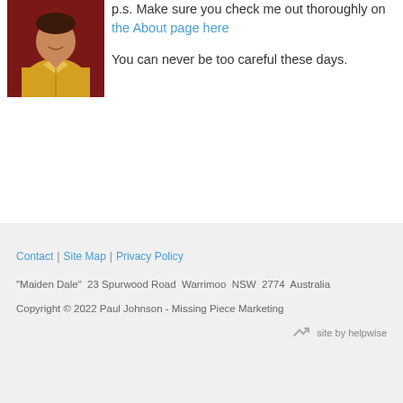[Figure (photo): Portrait photo of a man wearing a yellow polo shirt, smiling, dark reddish-brown background]
p.s. Make sure you check me out thoroughly on the About page here
You can never be too careful these days.
Contact | Site Map | Privacy Policy
"Maiden Dale"  23 Spurwood Road  Warrimoo  NSW  2774  Australia
Copyright © 2022 Paul Johnson - Missing Piece Marketing
site by helpwise